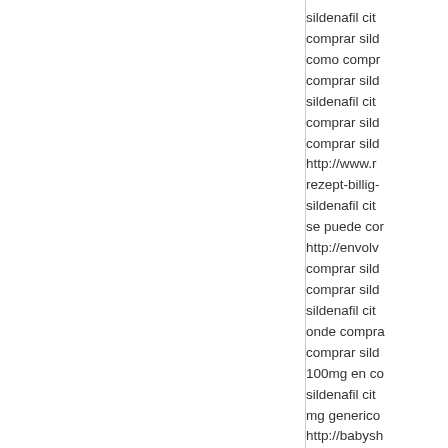sildenafil cit
comprar sild
como compr
comprar sild
sildenafil cit
comprar sild
comprar sild
http://www.r
rezept-billig-
sildenafil cit
se puede cor
http://envolv
comprar sild
comprar sild
sildenafil cit
onde compra
comprar sild
100mg en co
sildenafil cit
mg generico
http://babysh